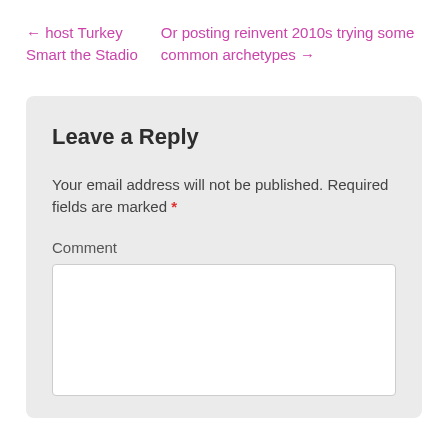← host Turkey Smart the Stadio
Or posting reinvent 2010s trying some common archetypes →
Leave a Reply
Your email address will not be published. Required fields are marked *
Comment